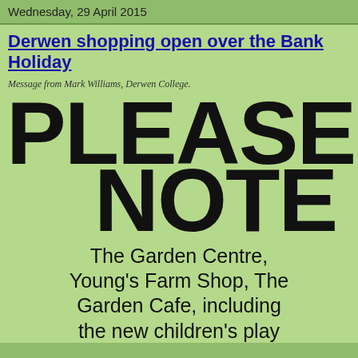Wednesday, 29 April 2015
Derwen shopping open over the Bank Holiday
Message from Mark Williams, Derwen College.
[Figure (other): Large bold text reading PLEASE NOTE overlaid on green background]
The Garden Centre, Young's Farm Shop, The Garden Cafe, including the new children's play area and The Orangery Restaurant,
at Derwen College